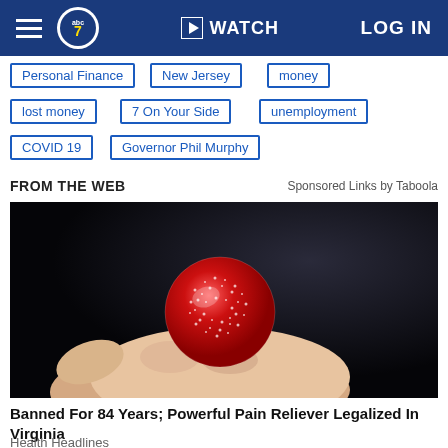abc7 | WATCH | LOG IN
Personal Finance
New Jersey
money
lost money
7 On Your Side
unemployment
COVID 19
Governor Phil Murphy
FROM THE WEB
Sponsored Links by Taboola
[Figure (photo): Hand holding a red sugar-coated gummy candy against a dark background]
Banned For 84 Years; Powerful Pain Reliever Legalized In Virginia
Health Headlines